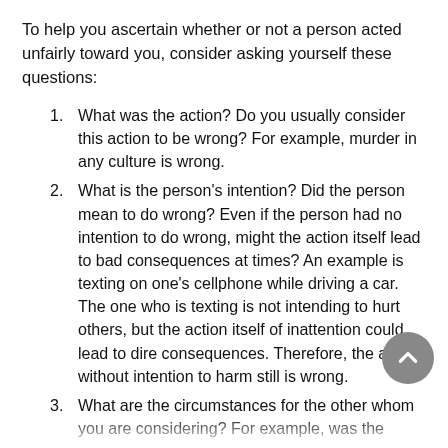To help you ascertain whether or not a person acted unfairly toward you, consider asking yourself these questions:
What was the action? Do you usually consider this action to be wrong?  For example, murder in any culture is wrong.
What is the person's intention? Did the person mean to do wrong?  Even if the person had no intention to do wrong, might the action itself lead to bad consequences at times?  An example is texting on one's cellphone while driving a car.  The one who is texting is not intending to hurt others, but the action itself of inattention could lead to dire consequences.  Therefore, the action without intention to harm still is wrong.
What are the circumstances for the other whom you are considering? For example, was the person sick that day and so was impatient…